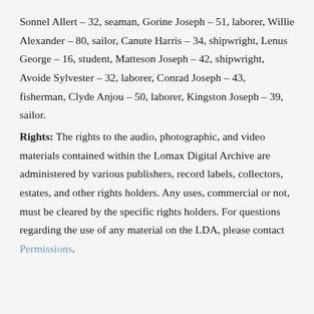Sonnel Allert – 32, seaman, Gorine Joseph – 51, laborer, Willie Alexander – 80, sailor, Canute Harris – 34, shipwright, Lenus George – 16, student, Matteson Joseph – 42, shipwright, Avoide Sylvester – 32, laborer, Conrad Joseph – 43, fisherman, Clyde Anjou – 50, laborer, Kingston Joseph – 39, sailor.
Rights: The rights to the audio, photographic, and video materials contained within the Lomax Digital Archive are administered by various publishers, record labels, collectors, estates, and other rights holders. Any uses, commercial or not, must be cleared by the specific rights holders. For questions regarding the use of any material on the LDA, please contact Permissions.